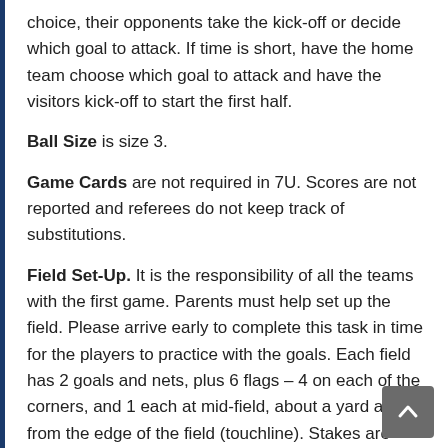choice, their opponents take the kick-off or decide which goal to attack. If time is short, have the home team choose which goal to attack and have the visitors kick-off to start the first half.
Ball Size is size 3.
Game Cards are not required in 7U. Scores are not reported and referees do not keep track of substitutions.
Field Set-Up. It is the responsibility of all the teams with the first game. Parents must help set up the field. Please arrive early to complete this task in time for the players to practice with the goals. Each field has 2 goals and nets, plus 6 flags – 4 on each of the corners, and 1 each at mid-field, about a yard away from the edge of the field (touchline). Stakes are used to secure the goals in the ground and net hooks keep the net taut. Additionally, Kids Zone sign needs to be placed in a visible location.